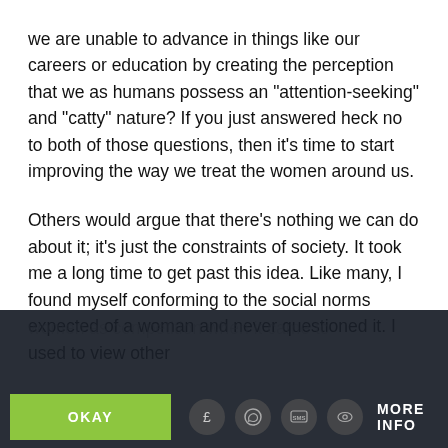we are unable to advance in things like our careers or education by creating the perception that we as humans possess an “attention-seeking” and “catty” nature? If you just answered heck no to both of those questions, then it’s time to start improving the way we treat the women around us.
Others would argue that there’s nothing we can do about it; it’s just the constraints of society. It took me a long time to get past this idea. Like many, I found myself conforming to the social norms expected of a woman and never questioned it. I used to view other women as competition when it came to
This website uses cookies